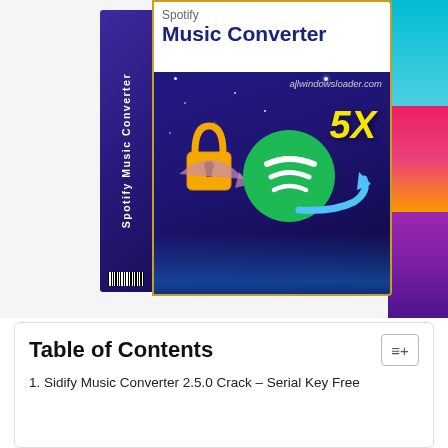[Figure (illustration): Product box for 'Spotify Music Converter' software showing a box with dark blue starry night background, white header with product name, a gold unlock padlock icon, Spotify green circle logo, yellow '5X' badge, and blue arrow. The box spine shows the product name vertically. Website 'allwindowsloader.com' is displayed on the front.]
Table of Contents
1. Sidify Music Converter 2.5.0 Crack – Serial Key Free